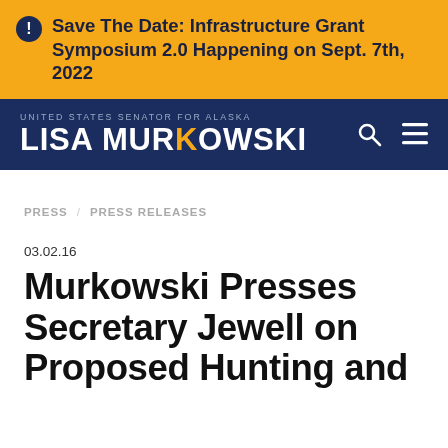Save The Date: Infrastructure Grant Symposium 2.0 Happening on Sept. 7th, 2022
UNITED STATES SENATOR FOR ALASKA — LISA MURKOWSKI
PRESS / PRESS RELEASES
03.02.16
Murkowski Presses Secretary Jewell on Proposed Hunting and